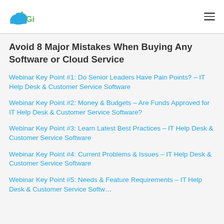Giva
Avoid 8 Major Mistakes When Buying Any Software or Cloud Service
Webinar Key Point #1: Do Senior Leaders Have Pain Points? – IT Help Desk & Customer Service Software
Webinar Key Point #2: Money & Budgets – Are Funds Approved for IT Help Desk & Customer Service Software?
Webinar Key Point #3: Learn Latest Best Practices – IT Help Desk & Customer Service Software
Webinar Key Point #4: Current Problems & Issues – IT Help Desk & Customer Service Software
Webinar Key Point #5: Needs & Feature Requirements – IT Help Desk & Customer Service Software